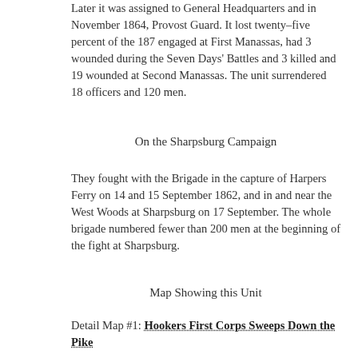Later it was assigned to General Headquarters and in November 1864, Provost Guard. It lost twenty-five percent of the 187 engaged at First Manassas, had 3 wounded during the Seven Days' Battles and 3 killed and 19 wounded at Second Manassas. The unit surrendered 18 officers and 120 men.
On the Sharpsburg Campaign
They fought with the Brigade in the capture of Harpers Ferry on 14 and 15 September 1862, and in and near the West Woods at Sharpsburg on 17 September. The whole brigade numbered fewer than 200 men at the beginning of the fight at Sharpsburg.
Map Showing this Unit
Detail Map #1: Hookers First Corps Sweeps Down the Pike